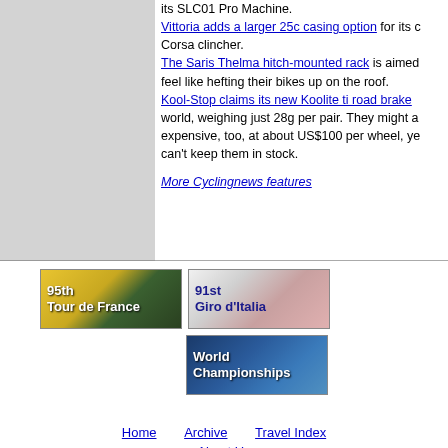its SLC01 Pro Machine. Vittoria adds a larger 25c casing option for its Corsa clincher. The Saris Thelma hitch-mounted rack is aimed to feel like hefting their bikes up on the roof. Kool-Stop claims its new Koolite ti road brake world, weighing just 28g per pair. They might a expensive, too, at about US$100 per wheel, ye can't keep them in stock.
More Cyclingnews features
[Figure (illustration): 95th Tour de France banner with cyclist in yellow jersey]
[Figure (illustration): 91st Giro d'Italia banner with cyclist]
[Figure (illustration): World Championships banner with cyclists]
Home   Archive   Travel Index   About Us
© Immediate Media Company Ltd.
The website is owned and published by Immediate Media Company Limited.